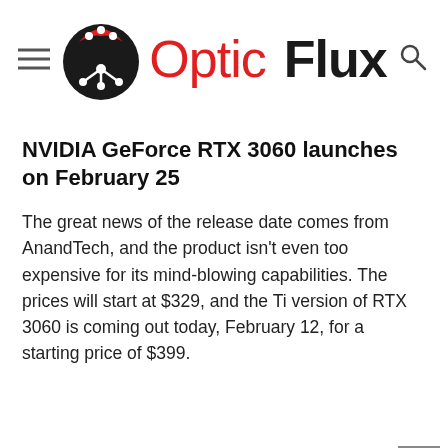Optic Flux
NVIDIA GeForce RTX 3060 launches on February 25
The great news of the release date comes from AnandTech, and the product isn't even too expensive for its mind-blowing capabilities. The prices will start at $329, and the Ti version of RTX 3060 is coming out today, February 12, for a starting price of $399.